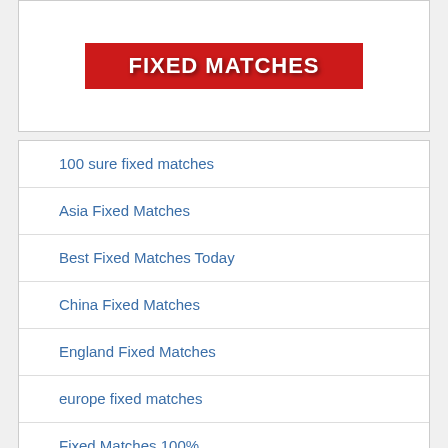[Figure (logo): Red banner with white bold text reading FIXED MATCHES]
100 sure fixed matches
Asia Fixed Matches
Best Fixed Matches Today
China Fixed Matches
England Fixed Matches
europe fixed matches
Fixed Matches 100%
Half Time Full Time Fixed Matches
hongkong fixed matches
India Fixed Matches
indonesia fixed matches
japan fixed matches